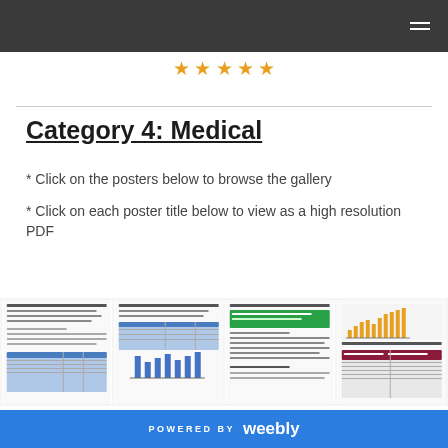[Figure (illustration): Five orange star outlines in a row]
Category 4: Medical
* Click on the posters below to browse the gallery
* Click on each poster title below to view as a high resolution PDF
[Figure (screenshot): Four medical poster thumbnails shown in a row]
POWERED BY weebly